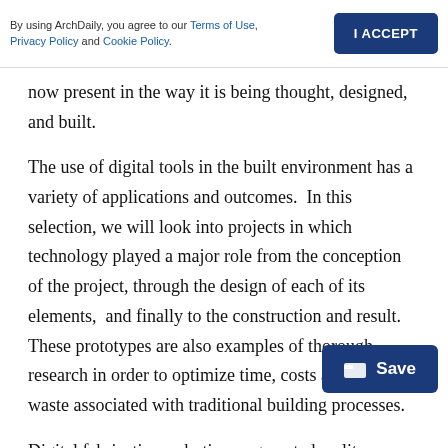By using ArchDaily, you agree to our Terms of Use, Privacy Policy and Cookie Policy.  I ACCEPT
now present in the way it is being thought, designed, and built.
The use of digital tools in the built environment has a variety of applications and outcomes.  In this selection, we will look into projects in which technology played a major role from the conception of the project, through the design of each of its elements,  and finally to the construction and result. These prototypes are also examples of thorough research in order to optimize time, costs and minimize waste associated with traditional building processes.
Digital fabrication, robotics, augmented reality fabrication interface, 3D printing and scanning, and diverse software, are